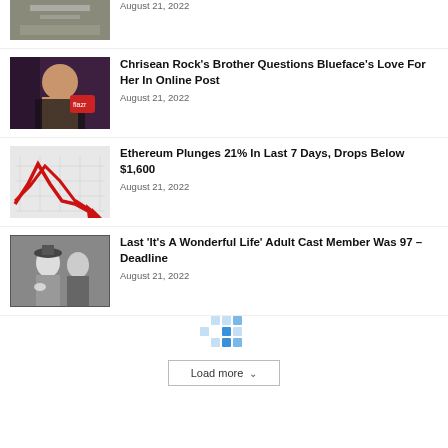[Figure (photo): Partial top image of a sign/street scene (cropped at top)]
August 21, 2022
[Figure (photo): Photo of Chrisean Rock at an event, wearing a black outfit]
Chrisean Rock's Brother Questions Blueface's Love For Her In Online Post
August 21, 2022
[Figure (illustration): Red downward arrow chart illustration representing market crash]
Ethereum Plunges 21% In Last 7 Days, Drops Below $1,600
August 21, 2022
[Figure (photo): Black and white photo of two people in vintage clothing]
Last 'It's A Wonderful Life' Adult Cast Member Was 97 – Deadline
August 21, 2022
[Figure (other): Loading spinner / pagination dots graphic in light blue]
Load more